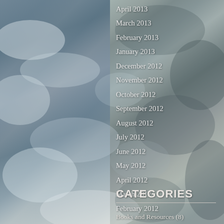[Figure (photo): Aerial photograph of clouds and earth surface viewed from above, with blue-grey tones. Left half shows lighter cloud formations, right half shows darker, more textured terrain/cloud cover.]
April 2013
March 2013
February 2013
January 2013
December 2012
November 2012
October 2012
September 2012
August 2012
July 2012
June 2012
May 2012
April 2012
March 2012
February 2012
CATEGORIES
Books and Resources (8)